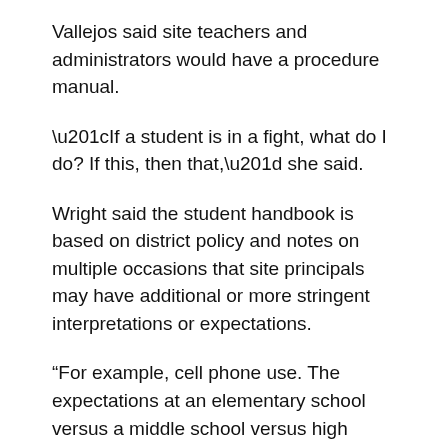Vallejos said site teachers and administrators would have a procedure manual.
“If a student is in a fight, what do I do? If this, then that,” she said.
Wright said the student handbook is based on district policy and notes on multiple occasions that site principals may have additional or more stringent interpretations or expectations.
“For example, cell phone use. The expectations at an elementary school versus a middle school versus high school would probably be different,” he said. “The principals have some leeway. This is a foundation.”